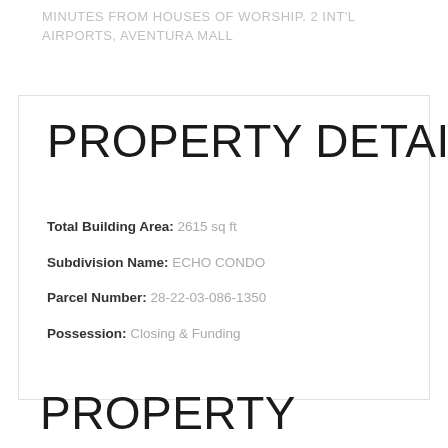MINUTES FROM HOUSES OF WORSHIP. 2 INT'L AIRPORTS, AVENTURA MALL
PROPERTY DETAILS
Total Building Area: 2615 sq ft
Subdivision Name: ECHO CONDO
Parcel Number: 28-22-03-086-1350
Possession: Closing & Funding
PROPERTY